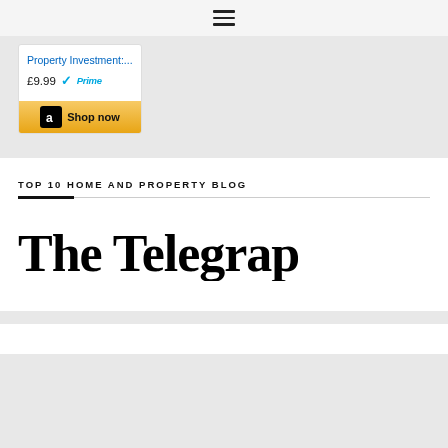[Figure (other): Hamburger/menu icon (three horizontal lines) at the top center of the page]
[Figure (other): Amazon advertisement card showing 'Property Investment:...' priced at £9.99 with Prime badge and 'Shop now' button with Amazon logo]
TOP 10 HOME AND PROPERTY BLOG
[Figure (logo): The Telegraph newspaper logo in blackletter/gothic script font]